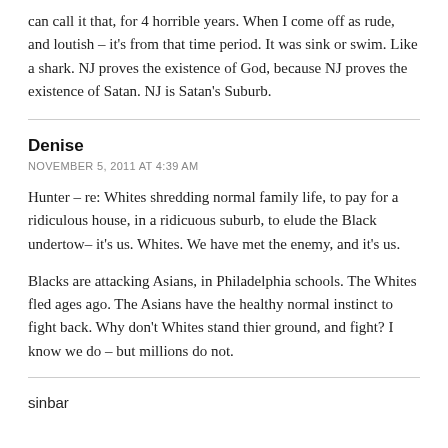can call it that, for 4 horrible years. When I come off as rude, and loutish – it's from that time period. It was sink or swim. Like a shark. NJ proves the existence of God, because NJ proves the existence of Satan. NJ is Satan's Suburb.
Denise
NOVEMBER 5, 2011 AT 4:39 AM
Hunter – re: Whites shredding normal family life, to pay for a ridiculous house, in a ridicuous suburb, to elude the Black undertow– it's us. Whites. We have met the enemy, and it's us.
Blacks are attacking Asians, in Philadelphia schools. The Whites fled ages ago. The Asians have the healthy normal instinct to fight back. Why don't Whites stand thier ground, and fight? I know we do – but millions do not.
sinbar